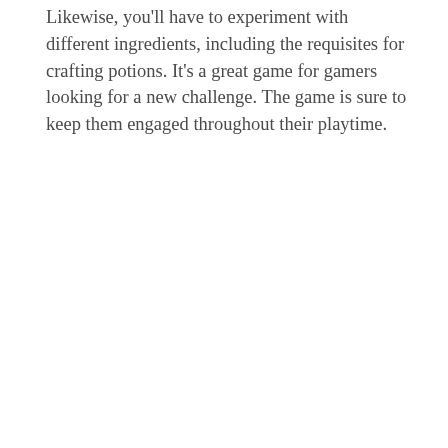Likewise, you'll have to experiment with different ingredients, including the requisites for crafting potions. It's a great game for gamers looking for a new challenge. The game is sure to keep them engaged throughout their playtime.